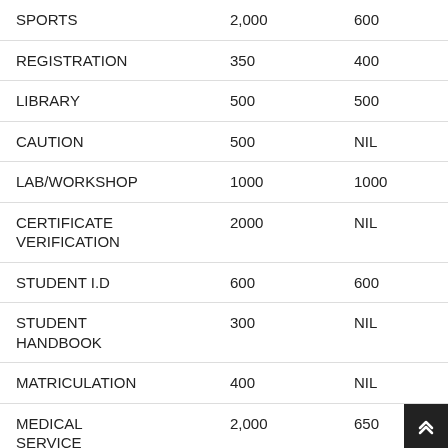|  | Col1 | Col2 | Col3 |
| --- | --- | --- | --- |
| SPORTS | 2,000 | 600 | 2,000 |
| REGISTRATION | 350 | 400 | 350 |
| LIBRARY | 500 | 500 | 500 |
| CAUTION | 500 | NIL | 500 |
| LAB/WORKSHOP | 1000 | 1000 | 1000 |
| CERTIFICATE VERIFICATION | 2000 | NIL | 2000 |
| STUDENT I.D | 600 | 600 | 600 |
| STUDENT HANDBOOK | 300 | NIL | 300 |
| MATRICULATION | 400 | NIL | 400 |
| MEDICAL SERVICE | 2,000 | 650 | 2,000 |